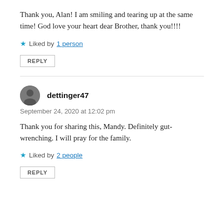Thank you, Alan! I am smiling and tearing up at the same time! God love your heart dear Brother, thank you!!!!
★ Liked by 1 person
REPLY
dettinger47
September 24, 2020 at 12:02 pm
Thank you for sharing this, Mandy. Definitely gut-wrenching. I will pray for the family.
★ Liked by 2 people
REPLY